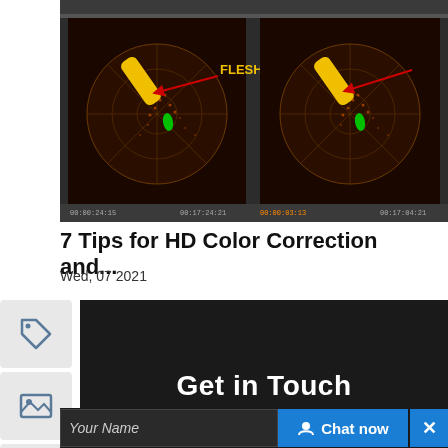[Figure (screenshot): Screenshot of a video editing software showing two vectorscope/waveform displays with circular color wheels. Yellow diagonal bars and a green dot are visible in each scope, along with the text 'FLESH TONE LINE' in yellow with red arrows pointing to the yellow bars. The interface shows timeline controls and timecode displays below.]
7 Tips for HD Color Correction and...
Wed, 07 2021
Get in Touch